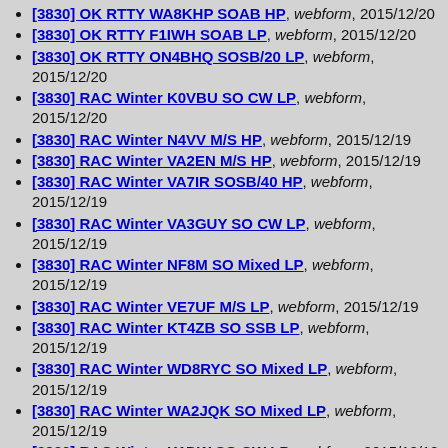[3830] OK RTTY WA8KHP SOAB HP, webform, 2015/12/20
[3830] OK RTTY F1IWH SOAB LP, webform, 2015/12/20
[3830] OK RTTY ON4BHQ SOSB/20 LP, webform, 2015/12/20
[3830] RAC Winter K0VBU SO CW LP, webform, 2015/12/20
[3830] RAC Winter N4VV M/S HP, webform, 2015/12/19
[3830] RAC Winter VA2EN M/S HP, webform, 2015/12/19
[3830] RAC Winter VA7IR SOSB/40 HP, webform, 2015/12/19
[3830] RAC Winter VA3GUY SO CW LP, webform, 2015/12/19
[3830] RAC Winter NF8M SO Mixed LP, webform, 2015/12/19
[3830] RAC Winter VE7UF M/S LP, webform, 2015/12/19
[3830] RAC Winter KT4ZB SO SSB LP, webform, 2015/12/19
[3830] RAC Winter WD8RYC SO Mixed LP, webform, 2015/12/19
[3830] RAC Winter WA2JQK SO Mixed LP, webform, 2015/12/19
[3830] RAC Winter K1DW SO CW LP, webform, 2015/12/19
[3830] RAC Winter VE3GFN SO Mixed LP, webform, 2015/12/19
[3830] OK RTTY XE1HG SOAB LP, webform, 2015/12/19